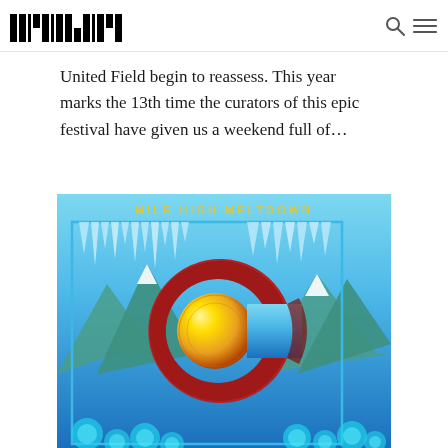THE MILE HIGH SOUND MOVEMENT
...United Field begin to reassess. This year marks the 13th time the curators of this epic festival have given us a weekend full of...
[Figure (illustration): Mile High Meltdown festival poster featuring a stylized Colorado C logo in red and gold, with icicles hanging from top, teal glowing orbs at bottom, mountain scenery in background, on a blue sky backdrop. Text 'MILE HIGH MELTDOWN' in yellow letters at top.]